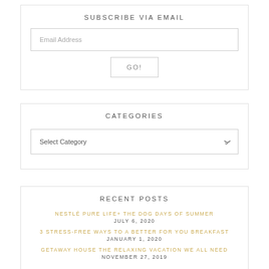SUBSCRIBE VIA EMAIL
Email Address
GO!
CATEGORIES
Select Category
RECENT POSTS
NESTLÉ PURE LIFE+ THE DOG DAYS OF SUMMER JULY 6, 2020
3 STRESS-FREE WAYS TO A BETTER FOR YOU BREAKFAST JANUARY 1, 2020
GETAWAY HOUSE THE RELAXING VACATION WE ALL NEED NOVEMBER 27, 2019